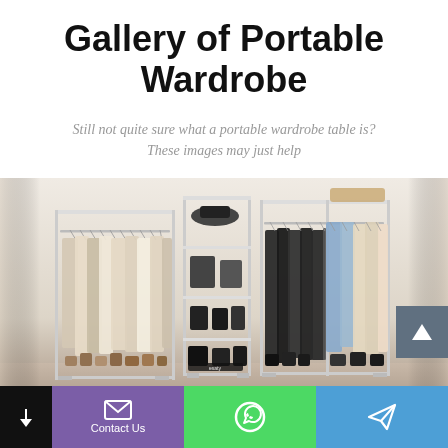Gallery of Portable Wardrobe
Still not quite sure what a portable wardrobe table is? These images may just help
[Figure (photo): Photo of a portable wardrobe system with multiple clothing racks and shelves, holding various garments and shoes, against a white wall]
Contact Us